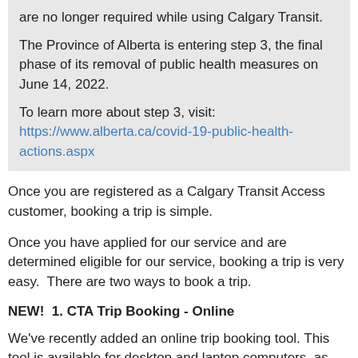are no longer required while using Calgary Transit.
The Province of Alberta is entering step 3, the final phase of its removal of public health measures on June 14, 2022.
To learn more about step 3, visit: https://www.alberta.ca/covid-19-public-health-actions.aspx
Once you are registered as a Calgary Transit Access customer, booking a trip is simple.
Once you have applied for our service and are determined eligible for our service, booking a trip is very easy.  There are two ways to book a trip.
NEW!  1. CTA Trip Booking - Online
We've recently added an online trip booking tool. This tool is available for desktop and laptop computers, as well as Apple and Android tablets or mobile devices.